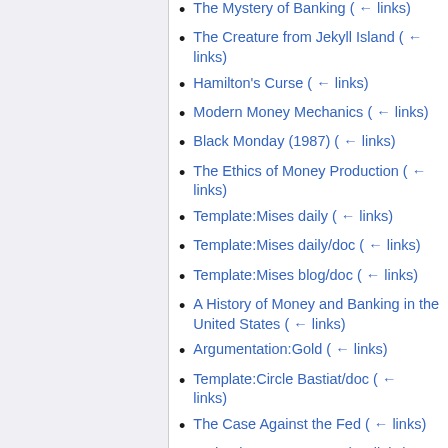The Mystery of Banking  (← links)
The Creature from Jekyll Island  (← links)
Hamilton's Curse  (← links)
Modern Money Mechanics  (← links)
Black Monday (1987)  (← links)
The Ethics of Money Production  (← links)
Template:Mises daily  (← links)
Template:Mises daily/doc  (← links)
Template:Mises blog/doc  (← links)
A History of Money and Banking in the United States  (← links)
Argumentation:Gold  (← links)
Template:Circle Bastiat/doc  (← links)
The Case Against the Fed  (← links)
Federal Reserve Notes  (← links)
Gold exchange standard  (← links)